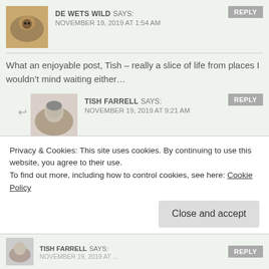[Figure (photo): Avatar of De Wets Wild commenter]
DE WETS WILD SAYS: NOVEMBER 19, 2019 AT 1:54 AM
REPLY
What an enjoyable post, Tish – really a slice of life from places I wouldn't mind waiting either...
[Figure (photo): Avatar of Tish Farrell commenter]
TISH FARRELL SAYS: NOVEMBER 19, 2019 AT 9:21 AM
REPLY
Cheers, Dries. I'm thinking I'd like to be waiting in some of them too 🙂
[Figure (photo): Avatar of Reflections of an Untidy Mind commenter]
REFLECTIONS OF AN UNTIDY MIND SAYS: NOVEMBER 19, 2019 AT 2:17 AM
REPLY
Privacy & Cookies: This site uses cookies. By continuing to use this website, you agree to their use.
To find out more, including how to control cookies, see here: Cookie Policy
Close and accept
[Figure (photo): Avatar of Tish Farrell (bottom stub)]
TISH FARRELL SAYS:
REPLY